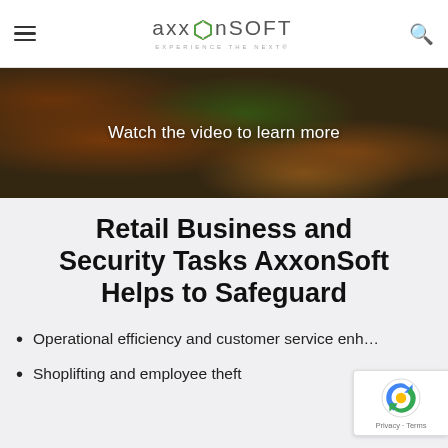AxxonSoft — Experience the Next
[Figure (photo): Blurred background photo of a retail market produce display with colorful fruits and vegetables, overlaid with the text 'Watch the video to learn more']
Watch the video to learn more
Retail Business and Security Tasks AxxonSoft Helps to Safeguard
Operational efficiency and customer service enh…
Shoplifting and employee theft